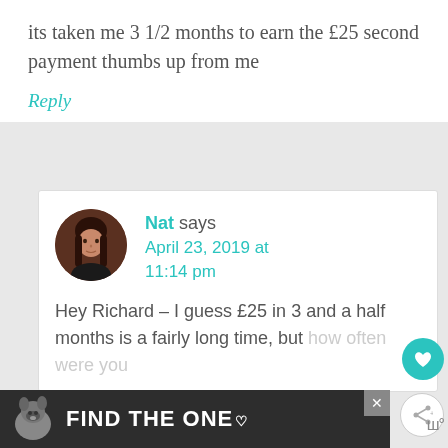its taken me 3 1/2 months to earn the £25 second payment thumbs up from me
Reply
[Figure (photo): Circular avatar of a young woman with long brown hair against a dark background]
Nat says April 23, 2019 at 11:14 pm
Hey Richard – I guess £25 in 3 and a half months is a fairly long time, but how often were you
[Figure (other): Dark advertisement banner with a dog photo and text FIND THE ONE with a heart symbol, and a close X button]